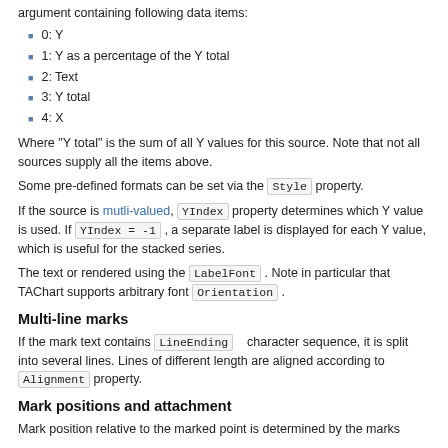argument containing following data items:
0: Y
1: Y as a percentage of the Y total
2: Text
3: Y total
4: X
Where "Y total" is the sum of all Y values for this source. Note that not all sources supply all the items above.
Some pre-defined formats can be set via the Style property.
If the source is mutli-valued, YIndex property determines which Y value is used. If YIndex = -1 , a separate label is displayed for each Y value, which is useful for the stacked series.
The text or rendered using the LabelFont . Note in particular that TAChart supports arbitrary font Orientation .
Multi-line marks
If the mark text contains LineEnding character sequence, it is split into several lines. Lines of different length are aligned according to Alignment property.
Mark positions and attachment
Mark position relative to the marked point is determined by the marks